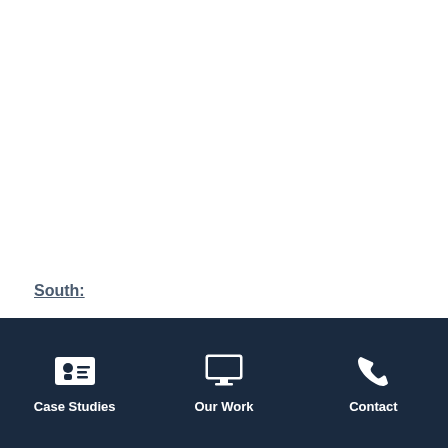South:
Case Studies | Our Work | Contact